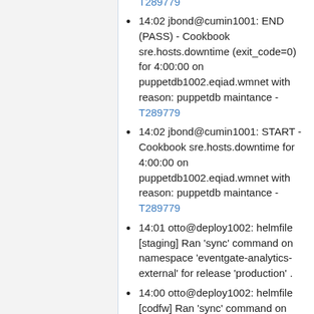T289779
14:02 jbond@cumin1001: END (PASS) - Cookbook sre.hosts.downtime (exit_code=0) for 4:00:00 on puppetdb1002.eqiad.wmnet with reason: puppetdb maintance - T289779
14:02 jbond@cumin1001: START - Cookbook sre.hosts.downtime for 4:00:00 on puppetdb1002.eqiad.wmnet with reason: puppetdb maintance - T289779
14:01 otto@deploy1002: helmfile [staging] Ran 'sync' command on namespace 'eventgate-analytics-external' for release 'production' .
14:00 otto@deploy1002: helmfile [codfw] Ran 'sync' command on